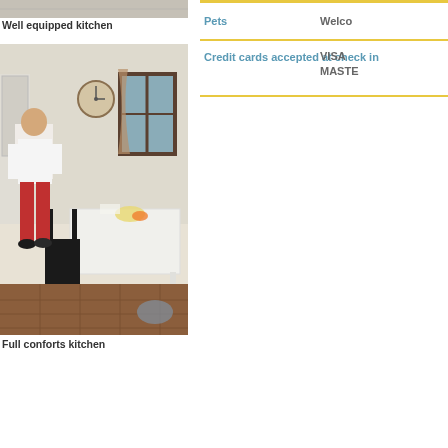[Figure (photo): Top portion of a well equipped kitchen photo, partially visible at top of page]
Well equipped kitchen
[Figure (photo): A man in white shirt and red trousers stands in a rustic kitchen with terracotta floor tiles, white dining table, wooden chair, wall clock, and window. Full conforts kitchen.]
Full conforts kitchen
Pets	Welco
Credit cards accepted at check in	VISA MASTE